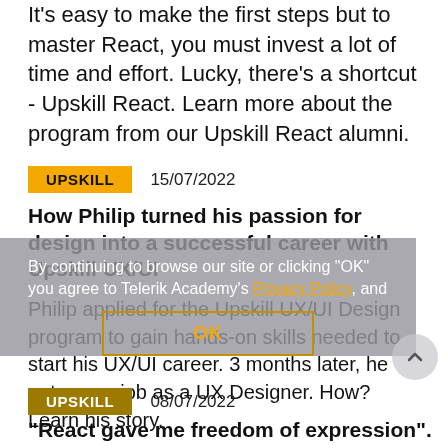It's easy to make the first steps but to master React, you must invest a lot of time and effort. Lucky, there's a shortcut - Upskill React. Learn more about the program from our Upskill React alumni.
UPSKILL   15/07/2022
How Philip turned his passion for design into a successful career with Upskill UX/UI
Philip applied for the Upskill UX/UI Design program to gain hands-on skills needed to start his UX/UI career. 3 months later, he got a new job as a UX Designer. How? Learn his story.
By continuing to browse our site or clicking "OK" you agree to Telerik Academy's Privacy Policy, and
OK
UPSKILL   08/07/2022
"React gave me freedom of expression".